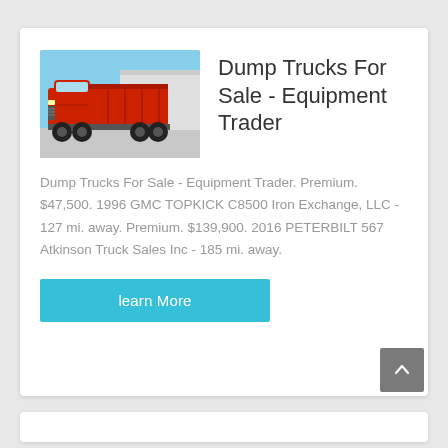[Figure (photo): Red dump truck (SINOTRUK/similar) parked in a lot with a building and blue sky in the background]
Dump Trucks For Sale - Equipment Trader
Dump Trucks For Sale - Equipment Trader. Premium. $47,500. 1996 GMC TOPKICK C8500 Iron Exchange, LLC - 127 mi. away. Premium. $139,900. 2016 PETERBILT 567 Atkinson Truck Sales Inc - 185 mi. away.
learn More